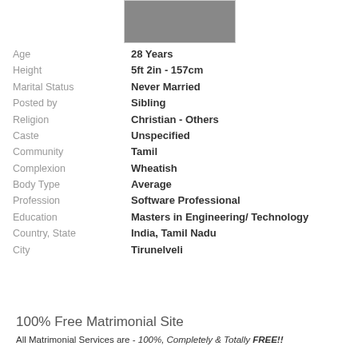[Figure (photo): Black and white portrait photo of a person]
Age: 28 Years
Height: 5ft 2in - 157cm
Marital Status: Never Married
Posted by: Sibling
Religion: Christian - Others
Caste: Unspecified
Community: Tamil
Complexion: Wheatish
Body Type: Average
Profession: Software Professional
Education: Masters in Engineering/ Technology
Country, State: India, Tamil Nadu
City: Tirunelveli
100% Free Matrimonial Site
All Matrimonial Services are - 100%, Completely & Totally FREE!!